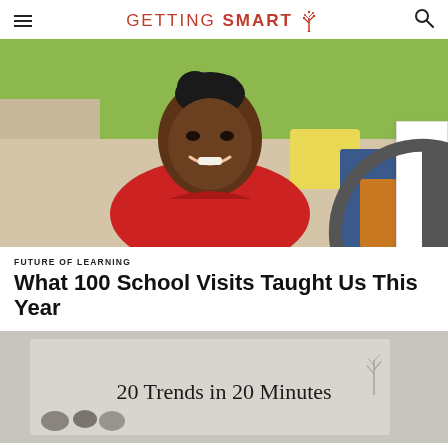GETTING SMART
[Figure (photo): A smiling young person in a red hoodie sitting on a couch with colorful pillows and a green wall background]
FUTURE OF LEARNING
What 100 School Visits Taught Us This Year
[Figure (screenshot): A partially visible slide or presentation image showing '20 Trends in 20 Minutes' text with a tree logo]